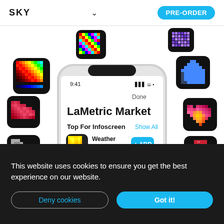SKY   ∨   PRE-ORDER
[Figure (screenshot): LaMetric Market app interface shown on iPhone X mockup with various pixel art app icons floating around it. The phone screen shows 'LaMetric Market', 'Top For Infoscreen', 'Show All', Weather app by LaMetric with 752 hearts and an ADD button.]
This website uses cookies to ensure you get the best experience on our website.
Deny cookies
Got it!